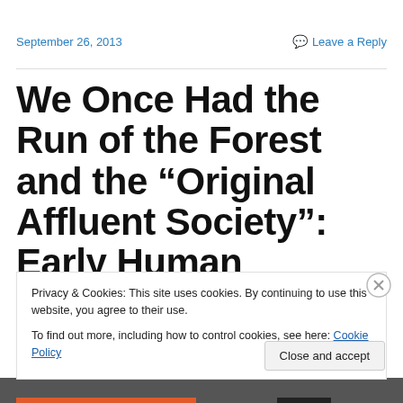September 26, 2013    Leave a Reply
We Once Had the Run of the Forest and the “Original Affluent Society”: Early Human Savagery Is a Patriarchal Myth Rationalizing Our Descent Into
Privacy & Cookies: This site uses cookies. By continuing to use this website, you agree to their use.
To find out more, including how to control cookies, see here: Cookie Policy
Close and accept